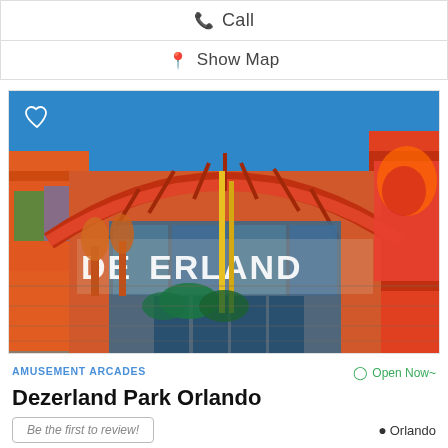Call
Show Map
[Figure (photo): Exterior photo of Dezerland Park Orlando showing colorful building with large red arched roof, blue sky, and large letters spelling out DEZERLAND on the facade. A heart/favorite icon is overlaid in the top-left corner.]
AMUSEMENT ARCADES
Open Now~
Dezerland Park Orlando
Be the first to review!
Orlando